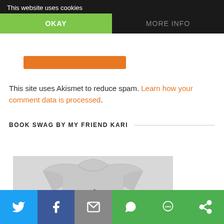This website uses cookies
OKAY
MORE INFO
This site uses Akismet to reduce spam. Learn how your comment data is processed.
BOOK SWAG BY MY FRIEND KARI
[Figure (photo): Gray t-shirt with text 'Books. Wine.' printed on it in typewriter-style font]
Social share bar with icons: Twitter, Facebook, Email, WhatsApp, SMS, More